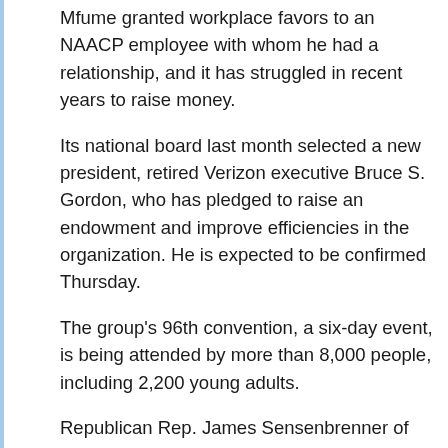Mfume granted workplace favors to an NAACP employee with whom he had a relationship, and it has struggled in recent years to raise money.
Its national board last month selected a new president, retired Verizon executive Bruce S. Gordon, who has pledged to raise an endowment and improve efficiencies in the organization. He is expected to be confirmed Thursday.
The group's 96th convention, a six-day event, is being attended by more than 8,000 people, including 2,200 young adults.
Republican Rep. James Sensenbrenner of Wisconsin also spoke to the group Sunday evening, saying he would help fight for reauthorization of the Voting Rights Act, portions of which are due to expire in 2007.